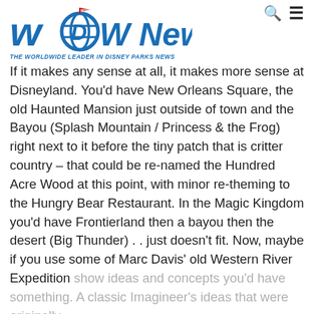WDW News Today — THE WORLDWIDE LEADER IN DISNEY PARKS NEWS
If it makes any sense at all, it makes more sense at Disneyland. You'd have New Orleans Square, the old Haunted Mansion just outside of town and the Bayou (Splash Mountain / Princess & the Frog) right next to it before the tiny patch that is critter country – that could be re-named the Hundred Acre Wood at this point, with minor re-theming to the Hungry Bear Restaurant. In the Magic Kingdom you'd have Frontierland then a bayou then the desert (Big Thunder) . . just doesn't fit. Now, maybe if you use some of Marc Davis' old Western River Expedition show ideas and concepts you'd have something. A classic Imagineer's ideas that were originally